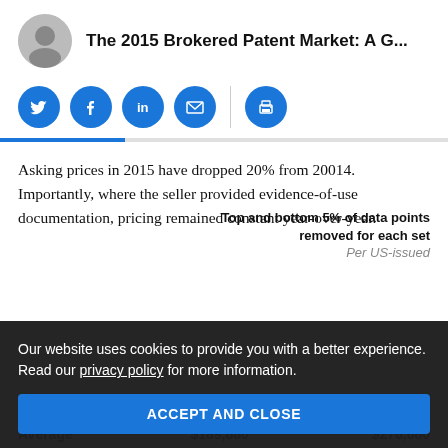The 2015 Brokered Patent Market: A G...
[Figure (infographic): Social sharing icons: Twitter, Facebook, LinkedIn, Email, Print — blue circles with white icons]
Asking prices in 2015 have dropped 20% from 20014. Importantly, where the seller provided evidence-of-use documentation, pricing remained constant year-over-year.
Top and bottom 5% of data points removed for each set
|  |  | Per US-issued |
| --- | --- | --- |
| Average | $189,880 | $276,680 |
Our website uses cookies to provide you with a better experience. Read our privacy policy for more information.
ACCEPT AND CLOSE